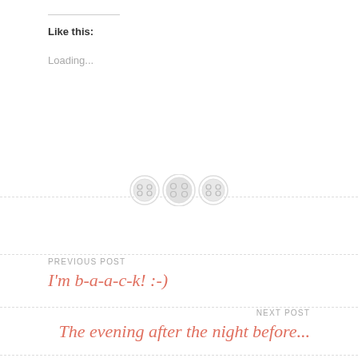Like this:
Loading...
[Figure (illustration): Three decorative button icons arranged horizontally on a dashed divider line]
PREVIOUS POST
I'm b-a-a-c-k! :-)
NEXT POST
The evening after the night before...